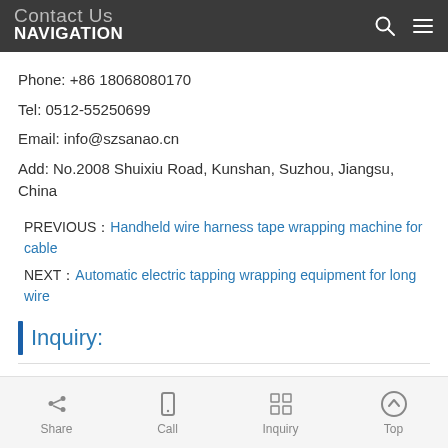NAVIGATION | Contact Us
Phone: +86 18068080170
Tel: 0512-55250699
Email: info@szsanao.cn
Add: No.2008 Shuixiu Road, Kunshan, Suzhou, Jiangsu, China
PREVIOUS：Handheld wire harness tape wrapping machine for cable
NEXT：Automatic electric tapping wrapping equipment for long wire
Inquiry:
Share | Call | Inquiry | Top